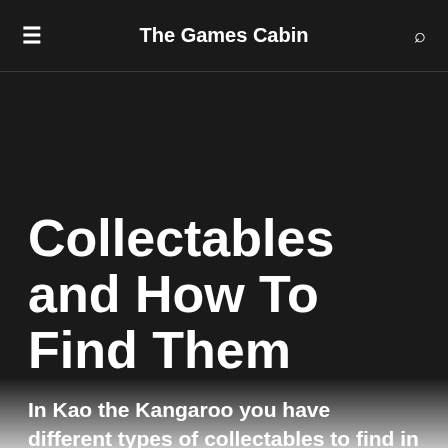The Games Cabin
Collectables and How To Find Them
In Kao the Kangaroo you have different types of collectables to find in each level, as well as in each hub world. You have the letters spelling out